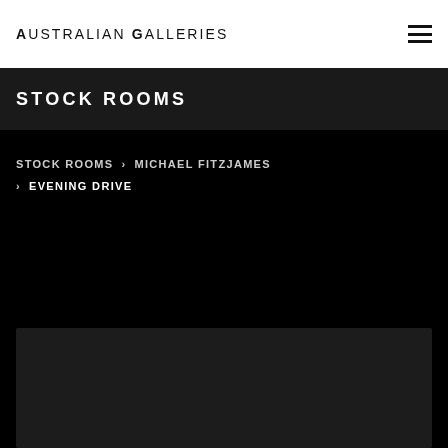Australian Galleries
STOCK ROOMS
STOCK ROOMS > MICHAEL FITZJAMES > EVENING DRIVE
[Figure (photo): Dark/black rectangular image area at bottom of page]